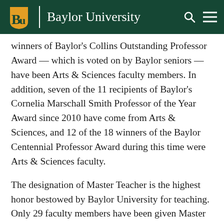Baylor University
winners of Baylor's Collins Outstanding Professor Award — which is voted on by Baylor seniors — have been Arts & Sciences faculty members. In addition, seven of the 11 recipients of Baylor's Cornelia Marschall Smith Professor of the Year Award since 2010 have come from Arts & Sciences, and 12 of the 18 winners of the Baylor Centennial Professor Award during this time were Arts & Sciences faculty.
The designation of Master Teacher is the highest honor bestowed by Baylor University for teaching. Only 29 faculty members have been given Master Teacher status since the award was established in 1982. During the past decade, six Baylor professors have been named Master Teachers, and four of those six — Corey Carbonara,